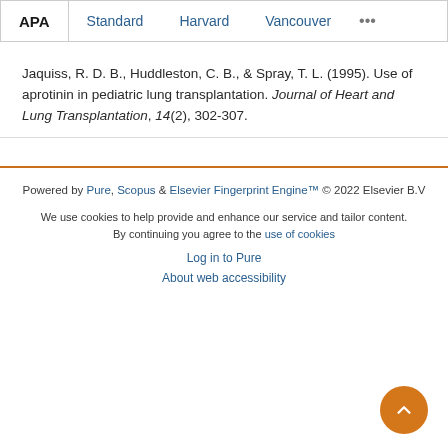APA   Standard   Harvard   Vancouver   ...
Jaquiss, R. D. B., Huddleston, C. B., & Spray, T. L. (1995). Use of aprotinin in pediatric lung transplantation. Journal of Heart and Lung Transplantation, 14(2), 302-307.
Powered by Pure, Scopus & Elsevier Fingerprint Engine™ © 2022 Elsevier B.V
We use cookies to help provide and enhance our service and tailor content. By continuing you agree to the use of cookies
Log in to Pure
About web accessibility